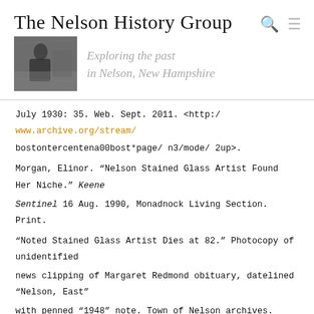The Nelson History Group
[Figure (photo): Black and white photo of a person outdoors, used as website banner image]
Exploring the past in Nelson, New Hampshire
July 1930: 35. Web. Sept. 2011. <http://www.archive.org/stream/ bostontercentena00bost*page/ n3/mode/ 2up>.
Morgan, Elinor. "Nelson Stained Glass Artist Found Her Niche." Keene Sentinel 16 Aug. 1990, Monadnock Living Section. Print.
"Noted Stained Glass Artist Dies at 82." Photocopy of unidentified news clipping of Margaret Redmond obituary, datelined "Nelson, East" with penned "1948" note. Town of Nelson archives. Print.
Prudden, Elizabeth B. "History Written in Glass." Christian Science Monitor 30 June 1931. 6. Print.
"Ten American Painters." Wikipedia. Sept. 2011.
Wall, Richard. "High Priest of American Neo-Gothic: Ralph Adams Cram." LewRockwell.com. 18 May 2006. Web. Sept. 2011.